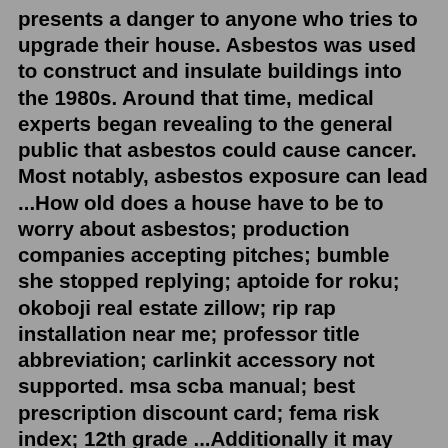presents a danger to anyone who tries to upgrade their house. Asbestos was used to construct and insulate buildings into the 1980s. Around that time, medical experts began revealing to the general public that asbestos could cause cancer. Most notably, asbestos exposure can lead ...How old does a house have to be to worry about asbestos; production companies accepting pitches; bumble she stopped replying; aptoide for roku; okoboji real estate zillow; rip rap installation near me; professor title abbreviation; carlinkit accessory not supported. msa scba manual; best prescription discount card; fema risk index; 12th grade ...Additionally it may have been used in hot areas around stoves etc.. It every easy to tell the difference between a cement sheet wall, and any form of plaster. If the house is oldish, and its cement sheet, ASSUME it has asbestos reinforcement. Remove it without cutting, wrap and seal in plastic, dispose of in land fill.Five important things you need to know. If your home was built after 2000, asbestos is very unlikely to have been used. Asbestos should